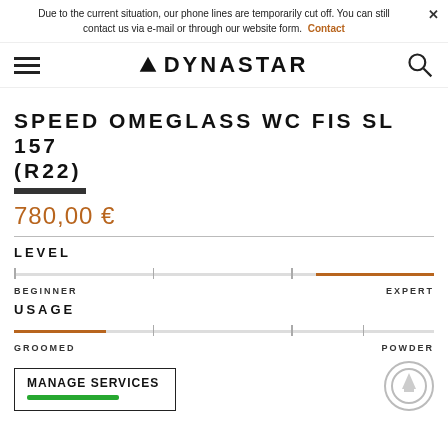Due to the current situation, our phone lines are temporarily cut off. You can still contact us via e-mail or through our website form. Contact
[Figure (logo): Dynastar logo with hamburger menu icon and search icon]
SPEED OMEGLASS WC FIS SL 157 (R22)
780,00 €
LEVEL
[Figure (infographic): Level gauge bar from Beginner to Expert, filled in brown on the right side (approx 75-100% range), with labels BEGINNER and EXPERT]
USAGE
[Figure (infographic): Usage gauge bar from Groomed to Powder, filled in brown on the left side (approx 0-25% range), with labels GROOMED and POWDER]
MANAGE SERVICES